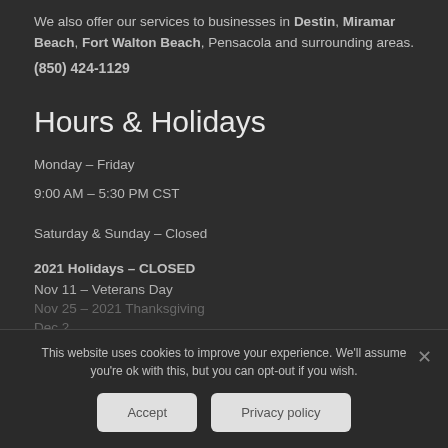We also offer our services to businesses in Destin, Miramar Beach, Fort Walton Beach, Pensacola and surrounding areas.
(850) 424-1129
Hours & Holidays
Monday – Friday
9:00 AM – 5:30 PM CST
Saturday & Sunday – Closed
2021 Holidays – CLOSED
Nov 11 – Veterans Day
Nov 25 – 2021 Thanksgiving
Dec 2
Dec 31 – New Year's Eve
2022 Holidays
This website uses cookies to improve your experience. We'll assume you're ok with this, but you can opt-out if you wish.